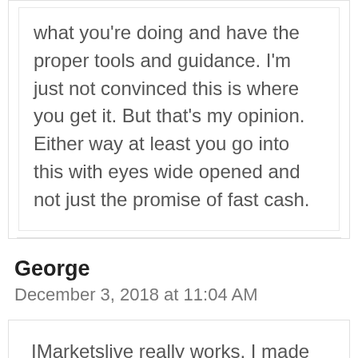what you're doing and have the proper tools and guidance. I'm just not convinced this is where you get it. But that's my opinion. Either way at least you go into this with eyes wide opened and not just the promise of fast cash.
George
December 3, 2018 at 11:04 AM
IMarketslive really works. I made an additional 30k last year, and it's my first year learning about forex and